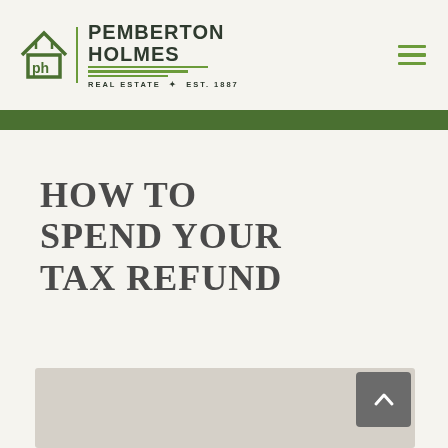Pemberton Holmes Real Estate · Est. 1887
HOW TO SPEND YOUR TAX REFUND
[Figure (photo): Partial view of an image at the bottom of the page, with a scroll-to-top button overlay]